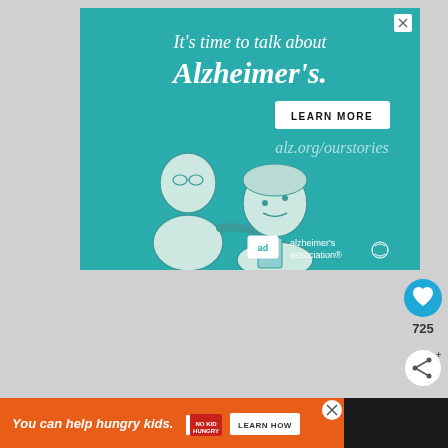[Figure (infographic): Alzheimer's Association advertisement with teal background. Headline reads 'It's time to talk about Alzheimer's.' with a LEARN MORE button, alz.org/ourstories URL, illustrated figures of two elderly people, and Alzheimer's Association logo. Close (X) button in top right corner.]
[Figure (infographic): Social media engagement buttons on right side: blue heart icon (like), count of 725, and white share icon]
[Figure (infographic): Bottom orange advertisement banner: 'You can help hungry kids.' with No Kid Hungry logo and LEARN HOW button. Close button and dark overlay with Walmart logo on right.]